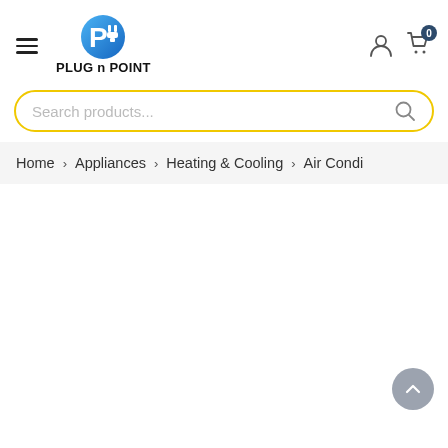PLUG n POINT — navigation header with hamburger menu, logo, user icon, and cart (0)
Search products...
Home > Appliances > Heating & Cooling > Air Condi